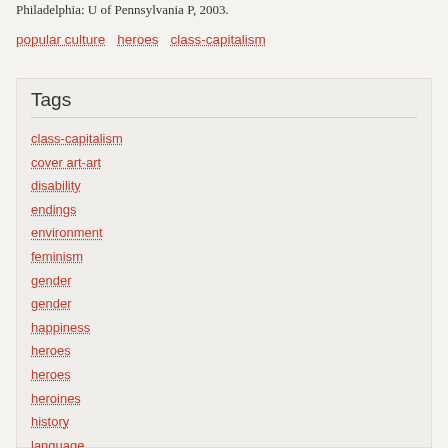Philadelphia: U of Pennsylvania P, 2003.
popular culture
heroes
class-capitalism
Tags
class-capitalism
cover art-art
disability
endings
environment
feminism
gender
gender
happiness
heroes
heroes
heroines
history
language
love
marriage
misc-academic
nationality